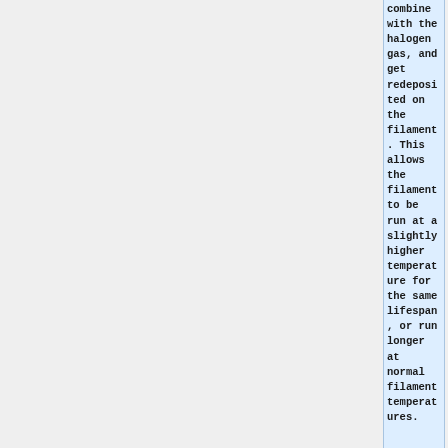combine with the halogen gas, and get redeposited on the filament. This allows the filament to be run at a slightly higher temperature for the same lifespan, or run longer at normal filament temperatures.